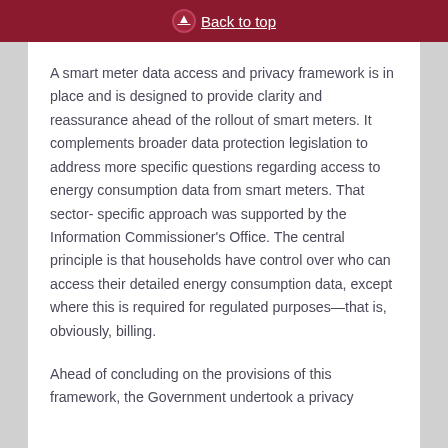Back to top
A smart meter data access and privacy framework is in place and is designed to provide clarity and reassurance ahead of the rollout of smart meters. It complements broader data protection legislation to address more specific questions regarding access to energy consumption data from smart meters. That sector- specific approach was supported by the Information Commissioner's Office. The central principle is that households have control over who can access their detailed energy consumption data, except where this is required for regulated purposes—that is, obviously, billing.
Ahead of concluding on the provisions of this framework, the Government undertook a privacy